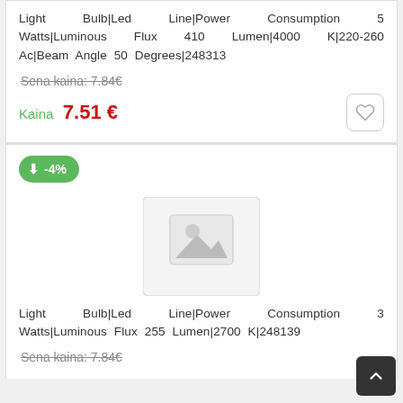Light Bulb|Led Line|Power Consumption 5 Watts|Luminous Flux 410 Lumen|4000 K|220-260 Ac|Beam Angle 50 Degrees|248313
Sena kaina: 7.84€
Kaina 7.51 €
[Figure (other): Discount badge showing -4%]
[Figure (photo): Placeholder product image with image icon]
Light Bulb|Led Line|Power Consumption 3 Watts|Luminous Flux 255 Lumen|2700 K|248139
Sena kaina: 7.84€